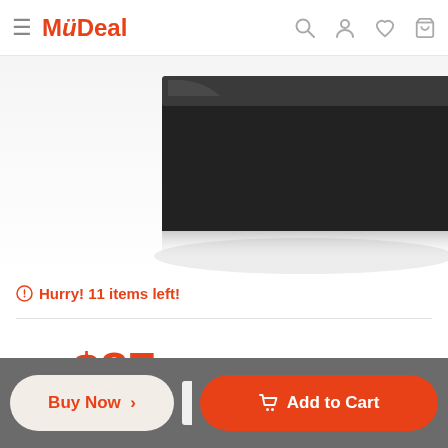MyDeal
[Figure (photo): Product image of a dark/black electronic device (appears to be a shelf or storage unit) on a white/light grey reflective surface]
Hurry! 11 items left!
Price  $87
Buy Now >
Add to Cart